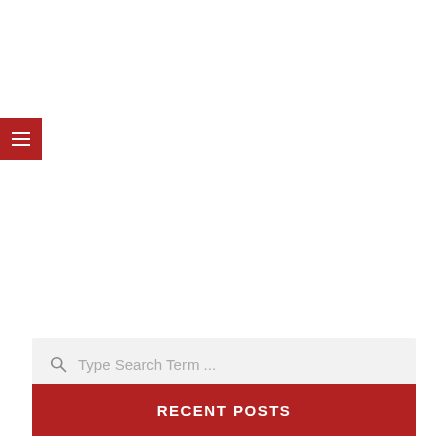[Figure (screenshot): Hamburger menu button - red square with three horizontal white lines (≡) positioned at upper left]
[Figure (screenshot): Search bar with magnifying glass icon and placeholder text 'Type Search Term ...' on a light gray background]
RECENT POSTS